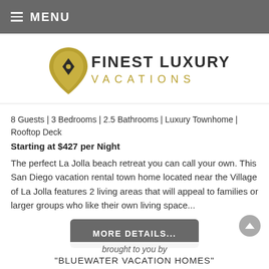≡ MENU
[Figure (logo): Finest Luxury Vacations logo: gold teardrop/diamond shape with navigation pin icon on left, 'FINEST LUXURY' in dark text and 'VACATIONS' in gold below on right]
8 Guests | 3 Bedrooms | 2.5 Bathrooms | Luxury Townhome | Rooftop Deck
Starting at $427 per Night
The perfect La Jolla beach retreat you can call your own. This San Diego vacation rental town home located near the Village of La Jolla features 2 living areas that will appeal to families or larger groups who like their own living space...
MORE DETAILS...
brought to you by
"BLUEWATER VACATION HOMES"